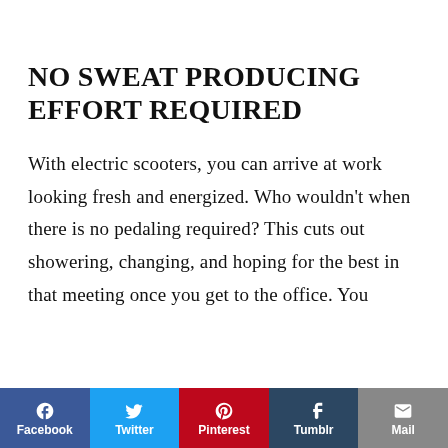NO SWEAT PRODUCING EFFORT REQUIRED
With electric scooters, you can arrive at work looking fresh and energized. Who wouldn’t when there is no pedaling required? This cuts out showering, changing, and hoping for the best in that meeting once you get to the office. You
Facebook | Twitter | Pinterest | Tumblr | Mail